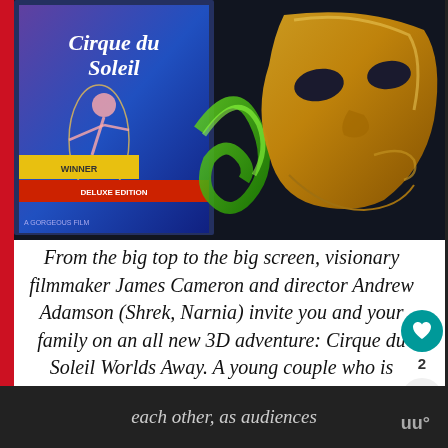[Figure (photo): Photo of a Cirque du Soleil DVD/Blu-ray case and a golden theatrical mask on a dark background with green swirl decoration]
From the big top to the big screen, visionary filmmaker James Cameron and director Andrew Adamson (Shrek, Narnia) invite you and your family on an all new 3D adventure: Cirque du Soleil Worlds Away. A young couple who is separated, must journey through the astonishing and dreamlike worlds of Cirque du Soleil to find each other, as audiences